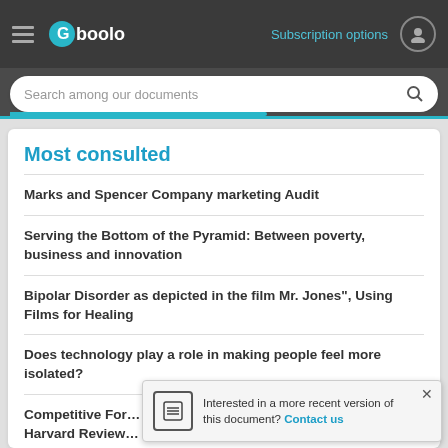Gboolo — Subscription options
Search among our documents
Most consulted
Marks and Spencer Company marketing Audit
Serving the Bottom of the Pyramid: Between poverty, business and innovation
Bipolar Disorder as depicted in the film Mr. Jones", Using Films for Healing
Does technology play a role in making people feel more isolated?
Competitive For… Harvard Review…
Interested in a more recent version of this document? Contact us